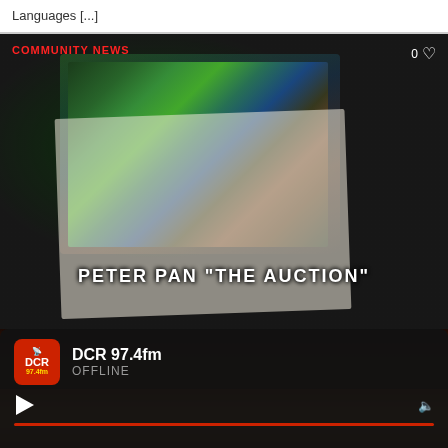Languages [...]
[Figure (photo): A photo showing a colourful illustrated artwork/storyboard depicting a jungle/forest scene with sketched notes, placed on a desk with audio mixing equipment in the background. Overlaid text reads PETER PAN "THE AUCTION" and a red COMMUNITY NEWS label is in the top-left corner with a heart icon and 0 in the top-right.]
[Figure (screenshot): DCR 97.4fm radio player widget showing the station logo (red square with antenna icon, DCR, 97.4fm), station name DCR 97.4fm, status OFFLINE, play button, and volume icon, with a red progress bar at the bottom on a dark background with a sunset landscape.]